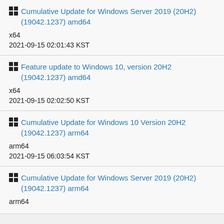Cumulative Update for Windows Server 2019 (20H2) (19042.1237) amd64
x64
2021-09-15 02:01:43 KST
Feature update to Windows 10, version 20H2 (19042.1237) amd64
x64
2021-09-15 02:02:50 KST
Cumulative Update for Windows 10 Version 20H2 (19042.1237) arm64
arm64
2021-09-15 06:03:54 KST
Cumulative Update for Windows Server 2019 (20H2) (19042.1237) arm64
arm64